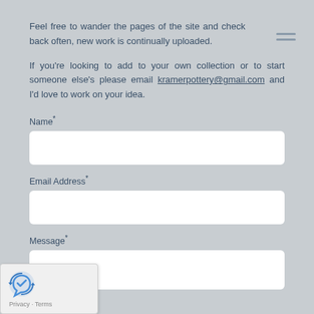Feel free to wander the pages of the site and check back often, new work is continually uploaded.
If you're looking to add to your own collection or to start someone else's please email kramerpottery@gmail.com and I'd love to work on your idea.
Name*
Email Address*
Message*